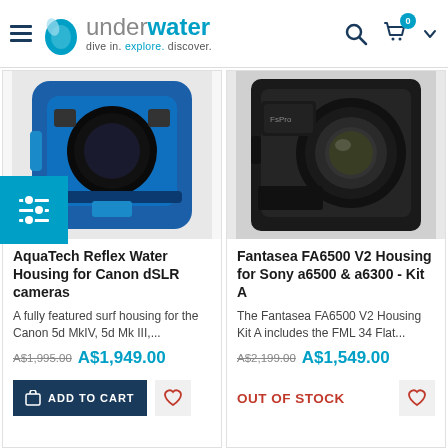Underwater - dive in. explore. discover.
[Figure (photo): AquaTech Reflex Water Housing for Canon dSLR - blue housing product photo]
[Figure (photo): Fantasea FA6500 V2 Housing for Sony a6500 & a6300 Kit A - black housing product photo]
AquaTech Reflex Water Housing for Canon dSLR cameras
Fantasea FA6500 V2 Housing for Sony a6500 & a6300 - Kit A
A fully featured surf housing for the Canon 5d MkIV, 5d Mk III,...
The Fantasea FA6500 V2 Housing Kit A includes the FML 34 Flat...
A$1,995.00 A$1,949.00
A$2,199.00 A$1,549.00
ADD TO CART
OUT OF STOCK